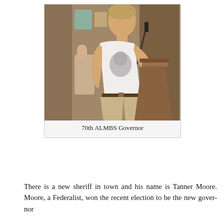[Figure (photo): A young man in a white t-shirt and khaki pants standing at a wooden podium, speaking, with a microphone visible. Indoor setting with wood-paneled walls in the background.]
70th ALMBS Governor
There is a new sheriff in town and his name is Tanner Moore. Moore, a Federalist, won the recent election to be the new gover-nor